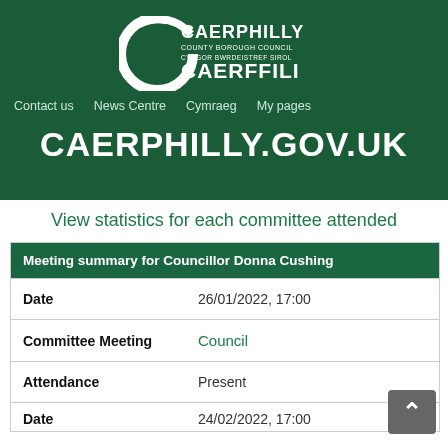[Figure (logo): Caerphilly County Borough Council / Cyngor Bwrdeistref Sirol Caerffili logo on dark green background]
Contact us   News Centre   Cymraeg   My pages
CAERPHILLY.GOV.UK
View statistics for each committee attended
| Meeting summary for Councillor Donna Cushing |
| --- |
| Date | 26/01/2022, 17:00 |
| Committee Meeting | Council |
| Attendance | Present |
| Date | 24/02/2022, 17:00 |